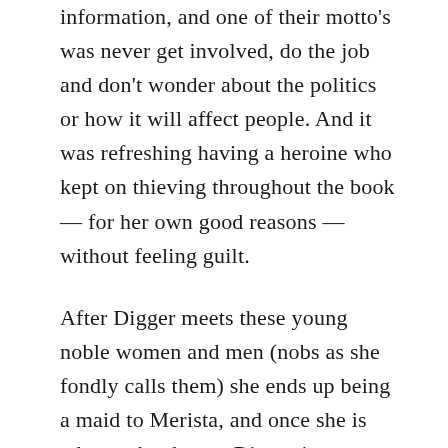information, and one of their motto's was never get involved, do the job and don't wonder about the politics or how it will affect people. And it was refreshing having a heroine who kept on thieving throughout the book — for her own good reasons — without feeling guilt.
After Digger meets these young noble women and men (nobs as she fondly calls them) she ends up being a maid to Merista, and once she is taken to her home, Digger is once again spying and thieving. And she ends up in this role because she tries to pick the man who blackmails her, Daul, who is foster brother to Merista's Father. Digger doesn't feel comfortable spying and thieving from